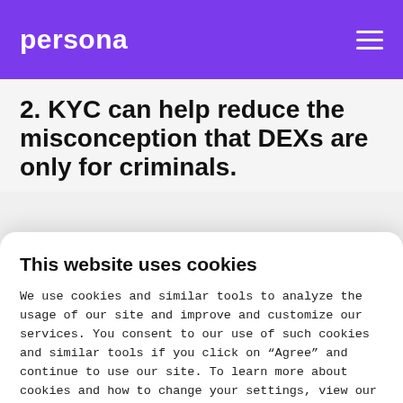persona
2. KYC can help reduce the misconception that DEXs are only for criminals.
This website uses cookies
We use cookies and similar tools to analyze the usage of our site and improve and customize our services. You consent to our use of such cookies and similar tools if you click on “Agree” and continue to use our site. To learn more about cookies and how to change your settings, view our cookie policy.
Agree